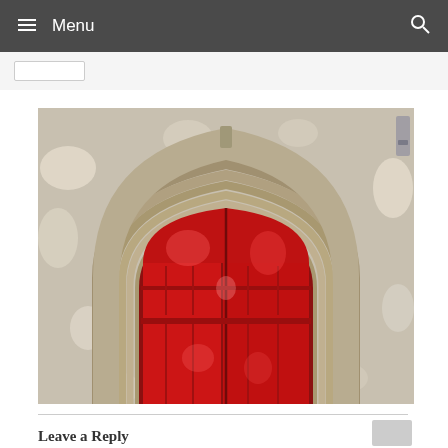Menu
[Figure (photo): A Gothic-arched doorway with a vibrant red double door set within ornate stone masonry. The arch has multiple molded layers and the door panels have raised vertical and horizontal divisions. Dappled light and shadow fall across the red doors and the surrounding pale stone wall.]
Leave a Reply